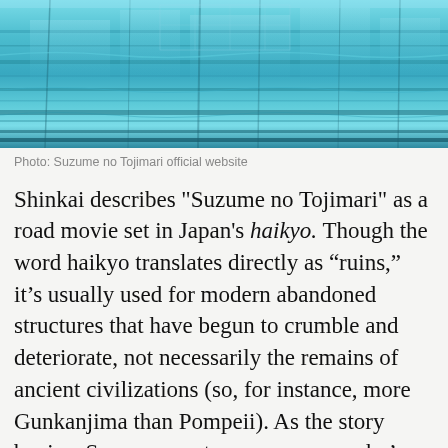[Figure (photo): A blue-toned photograph showing a reflective water surface or glass with horizontal architectural structures, teal and blue colors dominate, appears to be a still from the anime film Suzume no Tojimari]
Photo: Suzume no Tojimari official website
Shinkai describes "Suzume no Tojimari" as a road movie set in Japan's haikyo. Though the word haikyo translates directly as “ruins,” it’s usually used for modern abandoned structures that have begun to crumble and deteriorate, not necessarily the remains of ancient civilizations (so, for instance, more Gunkanjima than Pompeii). As the story begins, Suzume meets a young man who’s traveled to her town in search of “a door.” Following him into the mountains, the pair comes to a mysterious door standing in the middle of the haikyo there. By some force, disaster and